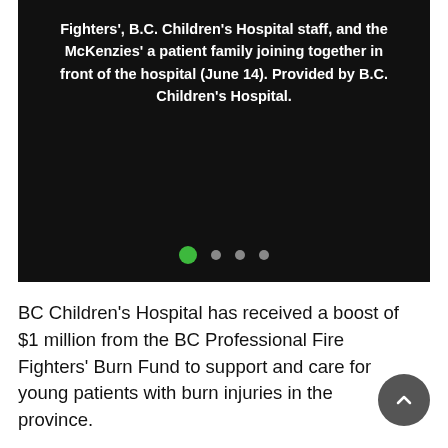[Figure (photo): Dark/black image area showing a caption overlay with text about BC Children's Hospital and BC Professional Fire Fighters, with navigation dots at the bottom (first dot active/green, three more dots).]
Fighters', B.C. Children's Hospital staff, and the McKenzies' a patient family joining together in front of the hospital (June 14). Provided by B.C. Children's Hospital.
BC Children's Hospital has received a boost of $1 million from the BC Professional Fire Fighters' Burn Fund to support and care for young patients with burn injuries in the province.